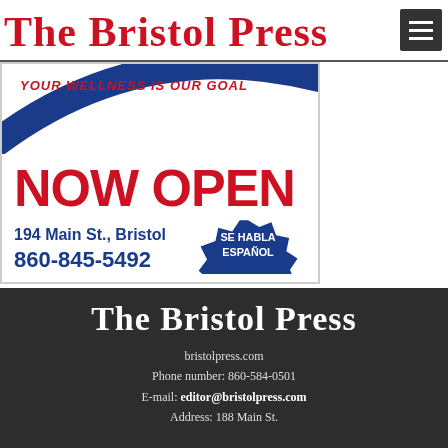The Bristol Press
[Figure (infographic): Advertisement for a wellness business at 194 Main St., Bristol. Shows blue arc graphic, tagline 'Your Wellness Is Our Goal', 'NOW OPEN', address 194 Main St., Bristol, phone 860-845-5492, and 'SE HABLA ESPAÑOL' badge.]
The Bristol Press
bristolpress.com
Phone number: 860-584-0501
E-mail: editor@bristolpress.com
Address: 188 Main St.
Bristol, CT 06010